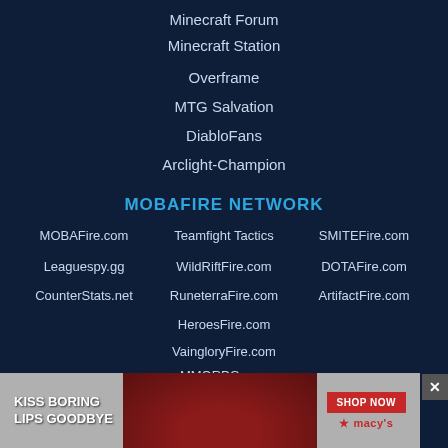Minecraft Forum
Minecraft Station
Overframe
MTG Salvation
DiabloFans
Arclight-Champion
MOBAFIRE NETWORK
MOBAFire.com
Teamfight Tactics
SMITEFire.com
Leaguespy.gg
WildRiftFire.com
DOTAFire.com
CounterStats.net
RuneterraFire.com
ArtifactFire.com
HeroesFire.com
VaingloryFire.com
MMORPG.com
[Figure (photo): Advertisement banner: KISS BORING LIPS GOODBYE - SHOP NOW - macy's]